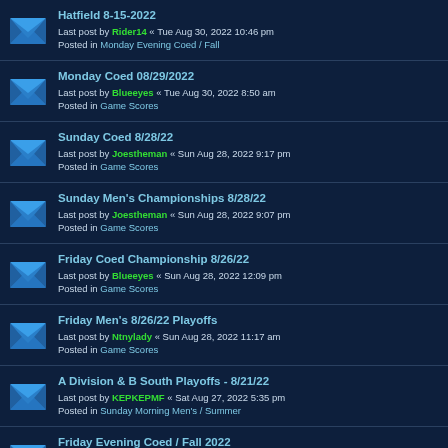Hatfield 8-15-2022 | Last post by Rider14 « Tue Aug 30, 2022 10:46 pm | Posted in Monday Evening Coed / Fall
Monday Coed 08/29/2022 | Last post by Blueeyes « Tue Aug 30, 2022 8:50 am | Posted in Game Scores
Sunday Coed 8/28/22 | Last post by Joestheman « Sun Aug 28, 2022 9:17 pm | Posted in Game Scores
Sunday Men's Championships 8/28/22 | Last post by Joestheman « Sun Aug 28, 2022 9:07 pm | Posted in Game Scores
Friday Coed Championship 8/26/22 | Last post by Blueeyes « Sun Aug 28, 2022 12:09 pm | Posted in Game Scores
Friday Men's 8/26/22 Playoffs | Last post by Ntnylady « Sun Aug 28, 2022 11:17 am | Posted in Game Scores
A Division & B South Playoffs - 8/21/22 | Last post by KEPKEPMF « Sat Aug 27, 2022 5:35 pm | Posted in Sunday Morning Men's / Summer
Friday Evening Coed / Fall 2022 | Last post by sixofdiamonds « Sat Aug 27, 2022 6:19 am | Posted in Softball America